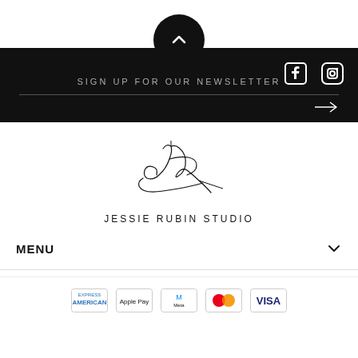[Figure (other): Black circle button with upward chevron arrow at top center]
[Figure (other): Facebook and Instagram social media icons in white on black background, top right]
SIGN UP FOR OUR NEWSLETTER
[Figure (logo): Jessie Rubin Studio signature/script logo with text JESSIE RUBIN STUDIO below]
MENU
[Figure (other): Payment icons: American Express, Apple Pay, Meta Pay, Mastercard, Visa]